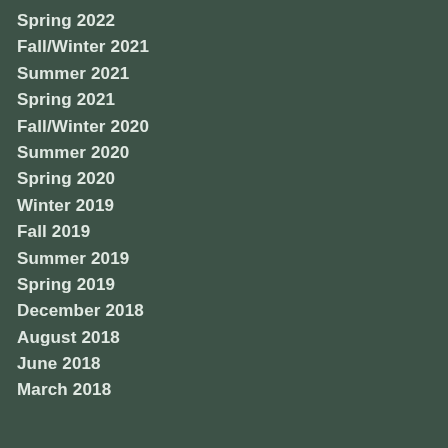Spring 2022
Fall/Winter 2021
Summer 2021
Spring 2021
Fall/Winter 2020
Summer 2020
Spring 2020
Winter 2019
Fall 2019
Summer 2019
Spring 2019
December 2018
August 2018
June 2018
March 2018